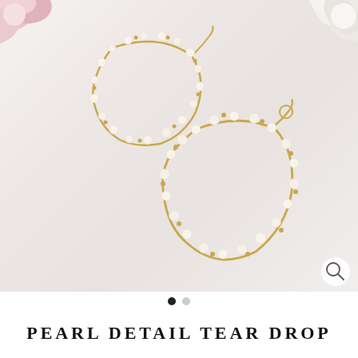[Figure (photo): Product photo of pearl detail tear drop hoop earrings on a light marble background with pink and white flowers in corners. Two gold teardrop-shaped hoop earrings adorned with small freshwater pearls wired along the gold chain frame.]
PEARL DETAIL TEAR DROP